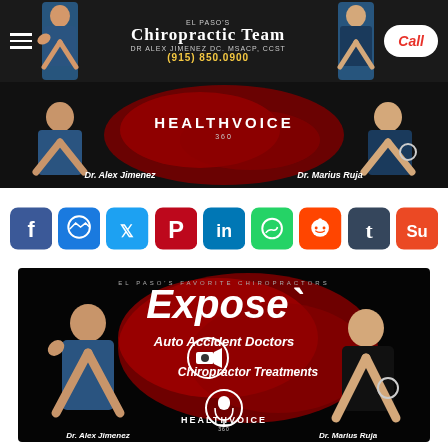El Paso's Chiropractic Team — Dr Alex Jimenez DC. MSACP, CCST — (915) 850.0900 — Call
[Figure (photo): HealthVoice 360 banner with Dr. Alex Jimenez and Dr. Marius Ruja on dark red splash background]
[Figure (infographic): Social media sharing icons row: Facebook, Messenger, Twitter, Pinterest, LinkedIn, WhatsApp, Reddit, Tumblr, StumbleUpon]
[Figure (photo): Video thumbnail: El Paso's Favorite Chiropractors - Expose Auto Accident Doctors Chiropractor Treatments - HealthVoice 360 - Dr. Alex Jimenez and Dr. Marius Ruja]